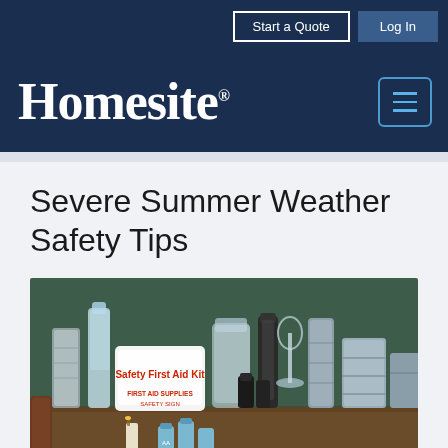Start a Quote | Log In
[Figure (logo): Homesite insurance logo in white serif font on dark navy background, with hamburger menu icon]
Severe Summer Weather Safety Tips
[Figure (photo): Emergency preparedness supplies including a Safety First Aid Kit bag, water bottles, canned food, batteries, candles, and other emergency items arranged on a table with a dark green background]